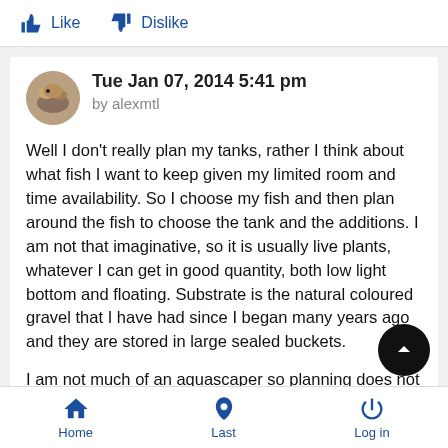[Figure (screenshot): Like and Dislike buttons with thumbs up and thumbs down icons in blue]
[Figure (photo): Circular avatar photo of a fish or aquarium scene]
Tue Jan 07, 2014 5:41 pm
by alexmtl
Well I don't really plan my tanks, rather I think about what fish I want to keep given my limited room and time availability. So I choose my fish and then plan around the fish to choose the tank and the additions. I am not that imaginative, so it is usually live plants, whatever I can get in good quantity, both low light bottom and floating. Substrate is the natural coloured gravel that I have had since I began many years ago and they are stored in large sealed buckets.
I am not much of an aquascaper so planning does not fact... but I am amazed by the creativity of those who do such beautiful creations when they plan. I guess if I had the room and
Home  Last  Log in